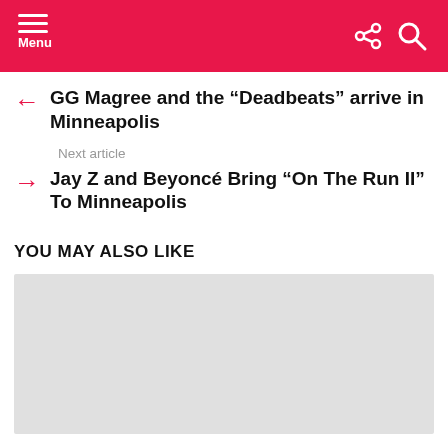Menu
GG Magree and the “Deadbeats” arrive in Minneapolis
Next article
Jay Z and Beyoncé Bring “On The Run II” To Minneapolis
YOU MAY ALSO LIKE
[Figure (photo): Placeholder image block (light gray rectangle)]